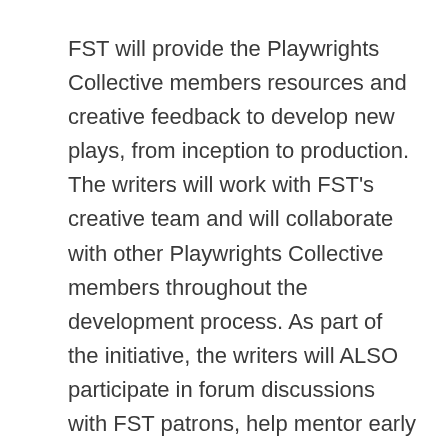FST will provide the Playwrights Collective members resources and creative feedback to develop new plays, from inception to production. The writers will work with FST's creative team and will collaborate with other Playwrights Collective members throughout the development process. As part of the initiative, the writers will ALSO participate in forum discussions with FST patrons, help mentor early career playwrights, and serve as guest teachers with the FST School.
The Playwrights Collective, which was founded in 2017, also includes Sarah Bierstock, Thomas Gibbons, Jacqueline Goldfinger, Kenneth Jones, Jason Odell Williams, and Mark St. Germain. The